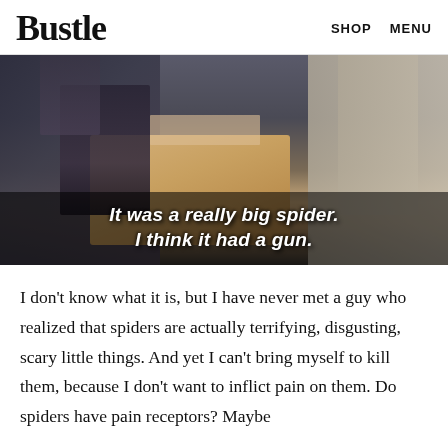Bustle   SHOP   MENU
[Figure (screenshot): TV show screenshot with two people and a large box, with subtitle text: 'It was a really big spider. I think it had a gun.']
I don't know what it is, but I have never met a guy who realized that spiders are actually terrifying, disgusting, scary little things. And yet I can't bring myself to kill them, because I don't want to inflict pain on them. Do spiders have pain receptors? Maybe